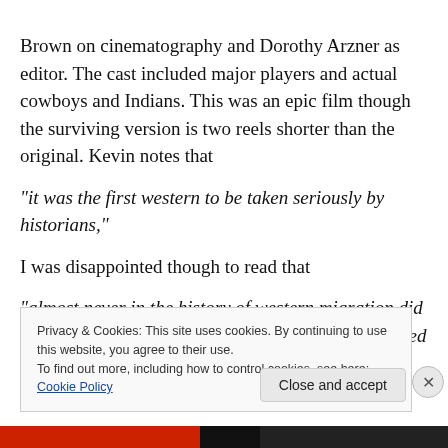Brown on cinematography and Dorothy Arzner as editor. The cast included major players and actual cowboys and Indians. This was an epic film though the surviving version is two reels shorter than the original. Kevin notes that
“it was the first western to be taken seriously by historians,”
I was disappointed though to read that
“almost never in the history of western migration did an Indian war party descend upon a circle of covered
Privacy & Cookies: This site uses cookies. By continuing to use this website, you agree to their use. To find out more, including how to control cookies, see here: Cookie Policy
Close and accept